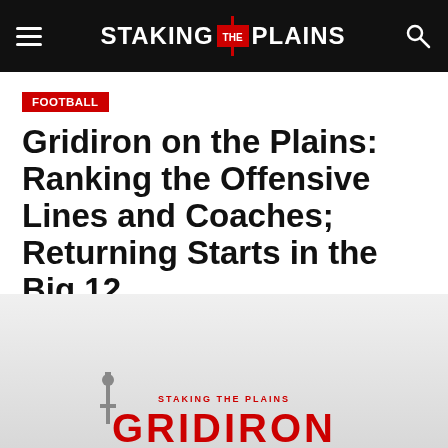STAKING THE PLAINS
FOOTBALL
Gridiron on the Plains: Ranking the Offensive Lines and Coaches; Returning Starts in the Big 12
By Seth C
Posted on May 15, 2015
[Figure (photo): Hero image with light gray background showing a stadium/gridiron silhouette at bottom left with red text reading STAKING THE PLAINS and GRIDIRON in large letters at bottom center]